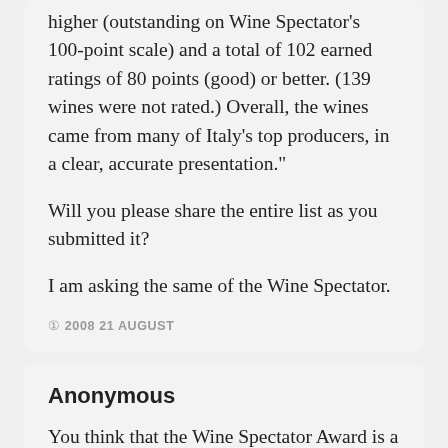higher (outstanding on Wine Spectator's 100-point scale) and a total of 102 earned ratings of 80 points (good) or better. (139 wines were not rated.) Overall, the wines came from many of Italy's top producers, in a clear, accurate presentation."
Will you please share the entire list as you submitted it?
I am asking the same of the Wine Spectator.
© 2008 21 AUGUST
Anonymous
You think that the Wine Spectator Award is a